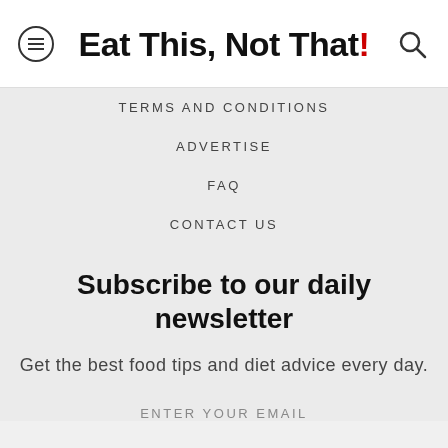Eat This, Not That!
TERMS AND CONDITIONS
ADVERTISE
FAQ
CONTACT US
Subscribe to our daily newsletter
Get the best food tips and diet advice every day.
ENTER YOUR EMAIL